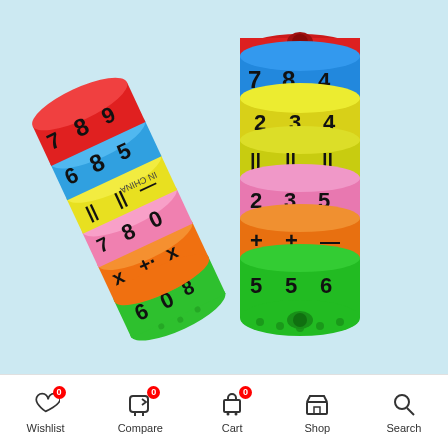[Figure (photo): Two colorful cylindrical magnetic math toys stacked on a light blue background. Each cylinder is made of stackable rings in red, blue, yellow, green, pink, and orange colors, printed with numbers 0-9 and math symbols (+, -, x, =). One cylinder is lying at an angle on the left, and one stands upright on the right.]
Wishlist 0  Compare 0  Cart 0  Shop  Search